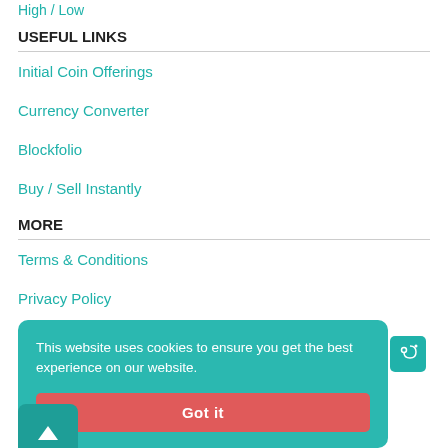High / Low
USEFUL LINKS
Initial Coin Offerings
Currency Converter
Blockfolio
Buy / Sell Instantly
MORE
Terms & Conditions
Privacy Policy
Contact Us
FAQs
This website uses cookies to ensure you get the best experience on our website.
Got it
Copyright © 2023 thecoinbazar. All Rights Reserved.